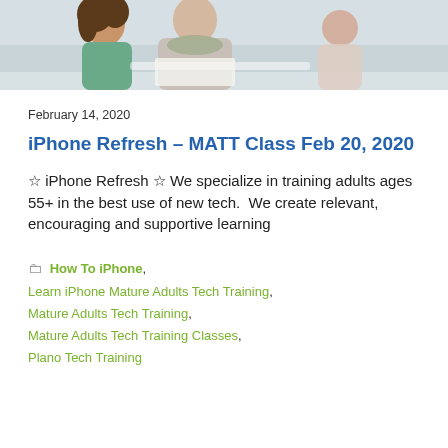[Figure (photo): Two women sitting together, one younger with curly hair and one older, looking at papers at a table. Additional people visible in background.]
February 14, 2020
iPhone Refresh – MATT Class Feb 20, 2020
☆ iPhone Refresh ☆ We specialize in training adults ages 55+ in the best use of new tech.  We create relevant, encouraging and supportive learning
How To iPhone, Learn iPhone Mature Adults Tech Training, Mature Adults Tech Training, Mature Adults Tech Training Classes, Plano Tech Training